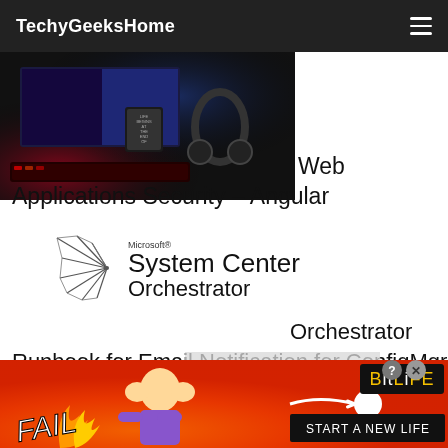TechyGeeksHome
[Figure (photo): Dark gaming/computer desk setup photo with monitor screens showing colorful displays, headphones, keyboard, and a mug with text 'LIFE BEGINS AT THE END OF YOUR COMFORT ZONE']
Web Applications Security – Angular
[Figure (logo): Microsoft System Center Orchestrator logo with geometric wireframe bird/figure icon on left and text 'Microsoft System Center Orchestrator' on right]
Orchestrator Runbook for Email Notification for ConfigMgr Software Catalog Requests [2020 Updated]
[Figure (photo): BitLife mobile game advertisement banner with 'FAIL' text, cartoon character facepalming, fire flames, and 'BitLife - START A NEW LIFE' call to action on red background]